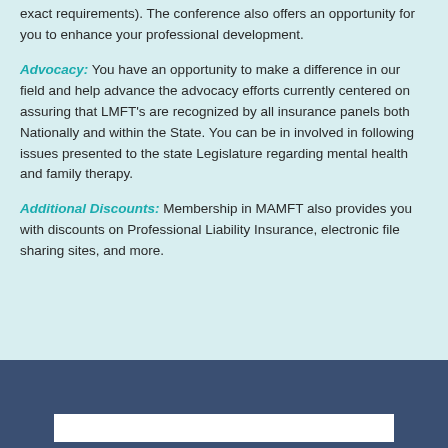exact requirements). The conference also offers an opportunity for you to enhance your professional development.
Advocacy: You have an opportunity to make a difference in our field and help advance the advocacy efforts currently centered on assuring that LMFT's are recognized by all insurance panels both Nationally and within the State. You can be in involved in following issues presented to the state Legislature regarding mental health and family therapy.
Additional Discounts: Membership in MAMFT also provides you with discounts on Professional Liability Insurance, electronic file sharing sites, and more.